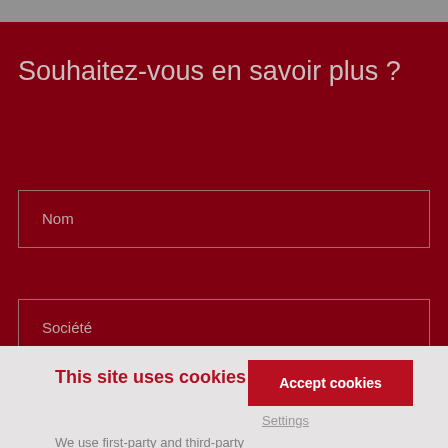Souhaitez-vous en savoir plus ?
Nom
Société
This site uses cookies
We use first-party and third-party cookies. Some of these cookies (technical and personalisation) are essential, while others help is to obtain statistical data on website. For detailed information on the cookies used on the WEBSITE, see the Cookies Policy below.